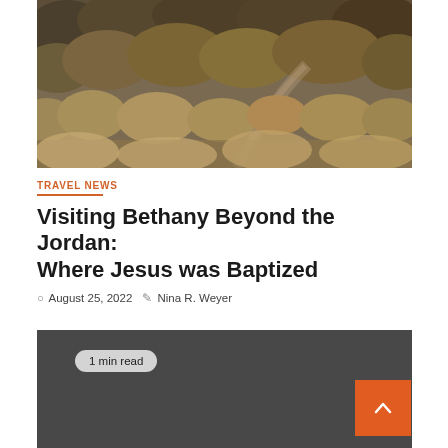[Figure (photo): Landscape photo showing a dry, bushy terrain with a narrow path or stream running through dense shrubs and dry vegetation, brownish-green tones.]
TRAVEL NEWS
Visiting Bethany Beyond the Jordan: Where Jesus was Baptized
August 25, 2022   Nina R. Weyer
1 min read